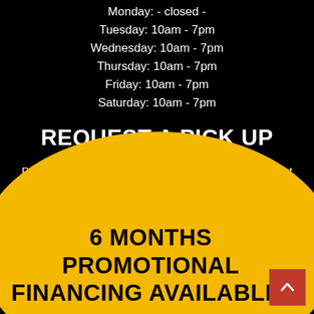Monday: - closed -
Tuesday: 10am - 7pm
Wednesday: 10am - 7pm
Thursday: 10am - 7pm
Friday: 10am - 7pm
Saturday: 10am - 7pm
REQUEST A PICK UP
Do you need maintenance/repairs done on your bike but don't want to schlep your bike to a shop? No problem, just click here to schedule a pickup and we'll work out a time that's convenient to come get it!
6 MONTHS PROMOTIONAL FINANCING AVAILABLE*